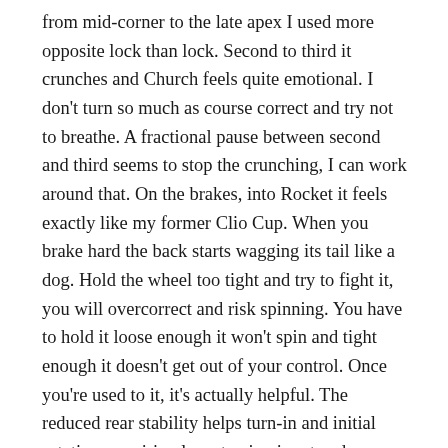from mid-corner to the late apex I used more opposite lock than lock. Second to third it crunches and Church feels quite emotional. I don't turn so much as course correct and try not to breathe. A fractional pause between second and third seems to stop the crunching, I can work around that. On the brakes, into Rocket it feels exactly like my former Clio Cup. When you brake hard the back starts wagging its tail like a dog. Hold the wheel too tight and try to fight it, you will overcorrect and risk spinning. You have to hold it loose enough it won't spin and tight enough it doesn't get out of your control. Once you're used to it, it's actually helpful. The reduced rear stability helps turn-in and initial rotation, requiring less steering input and you can be quicker to get the steering lock off and back on the accelerator. Ninety plus minutes of this is going to be interesting. I don't think a 2:01 is going to be forthcoming. For the first ten minutes, I found my feet and managed a 'flyer' with minimal traffic. A solid 2:03. I parked any thought of 2:01s and cracked on. It's too much fun. It